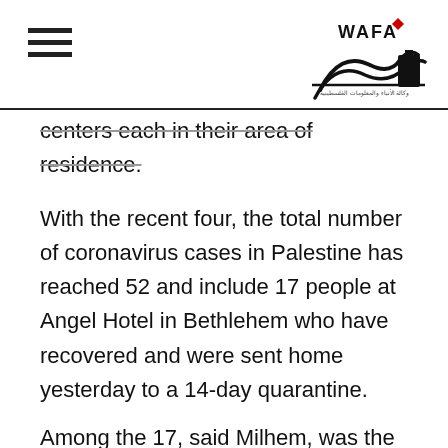WAFA — Palestinian News & Info Agency (logo and navigation)
centers each in their area of residence.
With the recent four, the total number of coronavirus cases in Palestine has reached 52 and include 17 people at Angel Hotel in Bethlehem who have recovered and were sent home yesterday to a 14-day quarantine.
Among the 17, said Milhem, was the 2-year-old toddler who at one point was reported critical but has since recovered and was also sent home.
Milhem said that tests were conducted on 3945 cases in Palestine since the start of this month and that results came for 3908 cases. Results for the